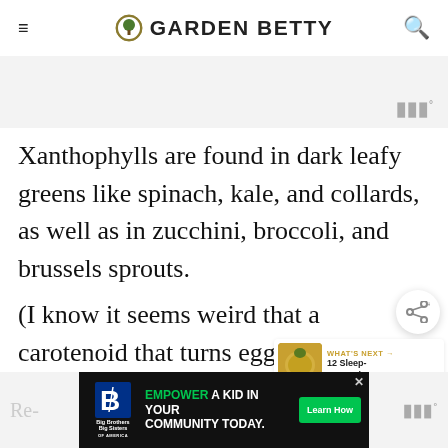GARDEN BETTY
[Figure (screenshot): Gray banner with watermark logo at top right]
Xanthophylls are found in dark leafy greens like spinach, kale, and collards, as well as in zucchini, broccoli, and brussels sprouts.
(I know it seems weird that a carotenoid that turns egg yolks orange is found in green vegetables, but stay with me here.)
[Figure (infographic): Share button (circle with share icon) and What's Next widget showing 12 Sleep-Promoting... with pineapple thumbnail]
[Figure (infographic): Advertisement banner: Big Brothers Big Sisters - EMPOWER A KID IN YOUR COMMUNITY TODAY. Learn How button]